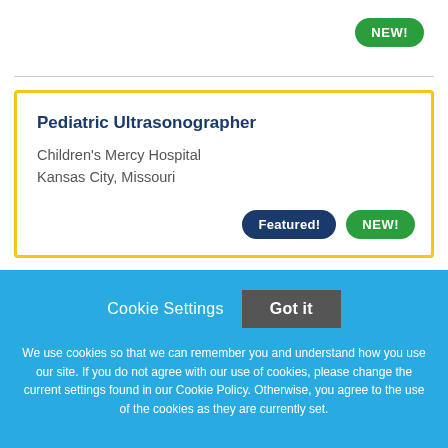[Figure (other): Green 'NEW!' badge pill button in top right corner]
Pediatric Ultrasonographer
Children's Mercy Hospital
Kansas City, Missouri
[Figure (other): 'Featured!' dark blue pill badge and green 'NEW!' pill badge at bottom right of job card]
Cookie Settings  Got it
We use cookies so that we can remember you and understand how you use our site. If you do not agree with our use of cookies, please change the current settings found in our Cookie Policy. Otherwise, you agree to the use of the cookies as they are currently set.